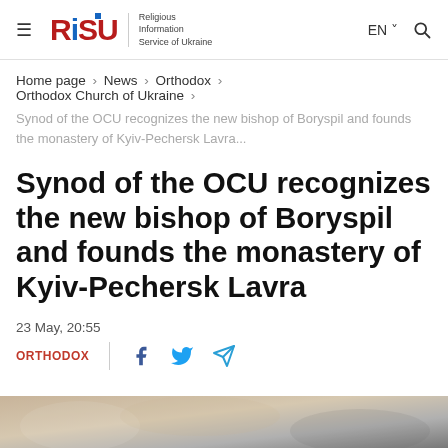RISU — Religious Information Service of Ukraine | EN | Search
Home page › News › Orthodox › Orthodox Church of Ukraine ›
Synod of the OCU recognizes the new bishop of Boryspil and founds the monastery of Kyiv-Pechersk Lavra...
Synod of the OCU recognizes the new bishop of Boryspil and founds the monastery of Kyiv-Pechersk Lavra
23 May, 20:55
ORTHODOX
[Figure (photo): Partial image at bottom of page, appears to show religious ceremony or vestments]